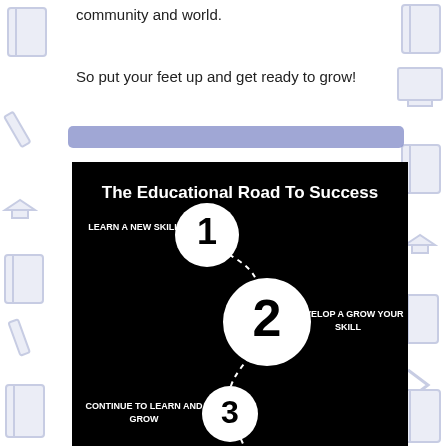community and world.
So put your feet up and get ready to grow!
[Figure (infographic): The Educational Road To Success infographic on black background showing a dashed path connecting three numbered circles: 1 LEARN A NEW SKILL, 2 DEVELOP A GROW YOUR SKILL, 3 CONTINUE TO LEARN AND GROW, with a fourth circle partially visible at bottom.]